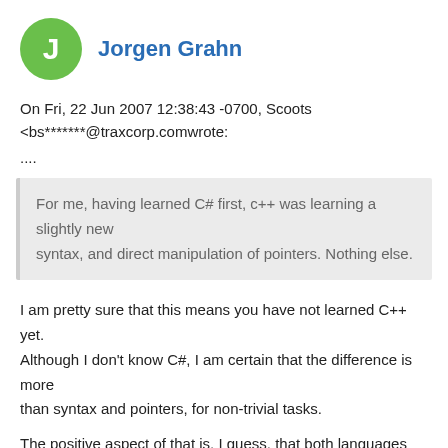Jorgen Grahn
On Fri, 22 Jun 2007 12:38:43 -0700, Scoots <bs*******@traxcorp.comwrote:
....
For me, having learned C# first, c++ was learning a slightly new syntax, and direct manipulation of pointers. Nothing else.
I am pretty sure that this means you have not learned C++ yet.
Although I don't know C#, I am certain that the difference is more
than syntax and pointers, for non-trivial tasks.
The positive aspect of that is, I guess, that both languages